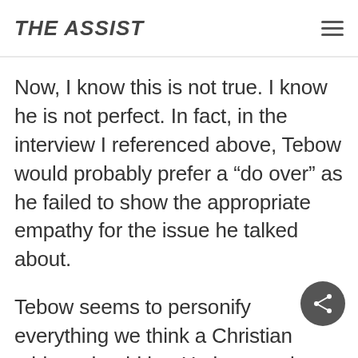THE ASSIST
Now, I know this is not true. I know he is not perfect. In fact, in the interview I referenced above, Tebow would probably prefer a “do over” as he failed to show the appropriate empathy for the issue he talked about.
Tebow seems to personify everything we think a Christian athlete should be. He is not only a role model, but he has also